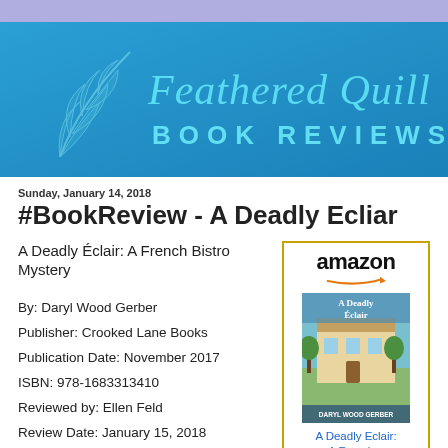[Figure (logo): Feathered Quill Book Reviews logo banner — blue gradient background with feather quill illustration and text 'Feathered Quill BOOK REVIEWS' in cyan/light blue]
Sunday, January 14, 2018
#BookReview - A Deadly Ecliar
A Deadly Éclair: A French Bistro Mystery
By: Daryl Wood Gerber
Publisher: Crooked Lane Books
Publication Date: November 2017
ISBN: 978-1683313410
Reviewed by: Ellen Feld
Review Date: January 15, 2018
[Figure (other): Amazon widget showing book cover of 'A Deadly Éclair: A French Bistro Mystery' with Amazon logo and arrow, and caption 'A Deadly Eclair: A French...']